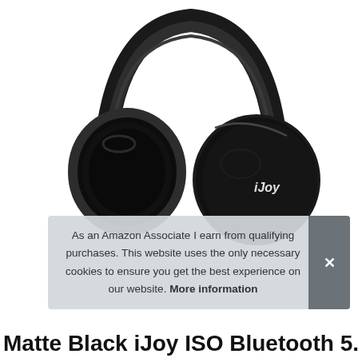[Figure (photo): Matte black iJoy over-ear Bluetooth headphones on white background, showing left ear cup with iJoy logo on right ear cup, padded headband and cushioned ear pads]
As an Amazon Associate I earn from qualifying purchases. This website uses the only necessary cookies to ensure you get the best experience on our website. More information
Matte Black iJoy ISO Bluetooth 5.0